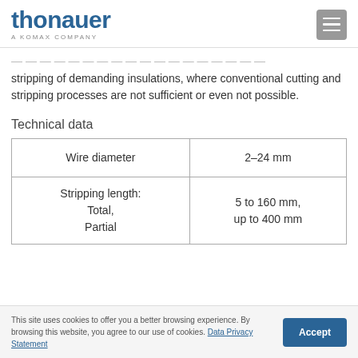thonauer — A KOMAX COMPANY
stripping of demanding insulations, where conventional cutting and stripping processes are not sufficient or even not possible.
Technical data
| Wire diameter | 2–24 mm |
| --- | --- |
| Stripping length:
Total,
Partial | 5 to 160 mm,
up to 400 mm |
This site uses cookies to offer you a better browsing experience. By browsing this website, you agree to our use of cookies. Data Privacy Statement